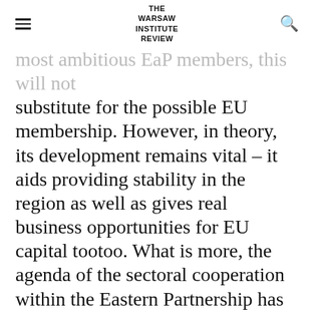THE WARSAW INSTITUTE REVIEW
most ambitious EaP members, this will not substitute for the possible EU membership. However, in theory, its development remains vital – it aids providing stability in the region as well as gives real business opportunities for EU capital tootoo. What is more, the agenda of the sectoral cooperation within the Eastern Partnership has already been highly developed, and in contrast to the mentioned political cooperation, it will not be exhausted too